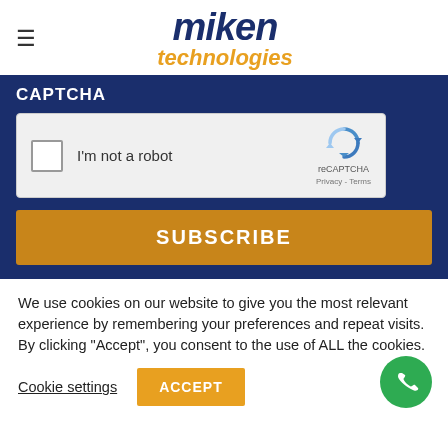[Figure (logo): Miken Technologies logo with dark blue italic 'miken' text and orange italic 'technologies' text below]
CAPTCHA
[Figure (screenshot): reCAPTCHA widget with checkbox 'I'm not a robot' and Google reCAPTCHA logo with Privacy and Terms links]
[Figure (screenshot): SUBSCRIBE button in gold/amber color on dark blue background]
We use cookies on our website to give you the most relevant experience by remembering your preferences and repeat visits. By clicking “Accept”, you consent to the use of ALL the cookies.
Cookie settings
ACCEPT